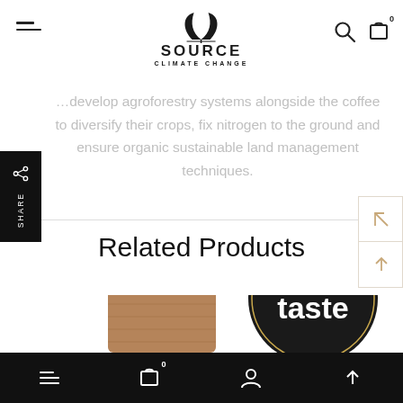Source Climate Change - navigation bar with logo, hamburger menu, search and cart icons
develop agroforestry systems alongside the coffee to diversify their crops, fix nitrogen to the ground and ensure organic sustainable land management techniques.
Related Products
[Figure (photo): Product image showing a coffee bag and a 'great taste' award badge/seal]
Bottom navigation bar with menu, cart (0), profile, and scroll-up icons